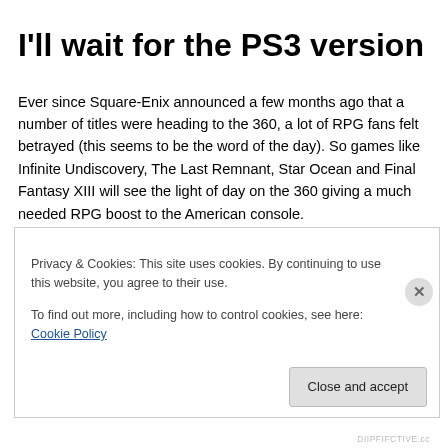I'll wait for the PS3 version
Ever since Square-Enix announced a few months ago that a number of titles were heading to the 360, a lot of RPG fans felt betrayed (this seems to be the word of the day). So games like Infinite Undiscovery, The Last Remnant, Star Ocean and Final Fantasy XIII will see the light of day on the 360 giving a much needed RPG boost to the American console.
But so far, it hasn't been good to Square-Enix. Infinite Undiscovery just went from $59.99 to $19.99 in a matter of
Privacy & Cookies: This site uses cookies. By continuing to use this website, you agree to their use.
To find out more, including how to control cookies, see here: Cookie Policy
Close and accept
DIIPFIFCTIVE.cc